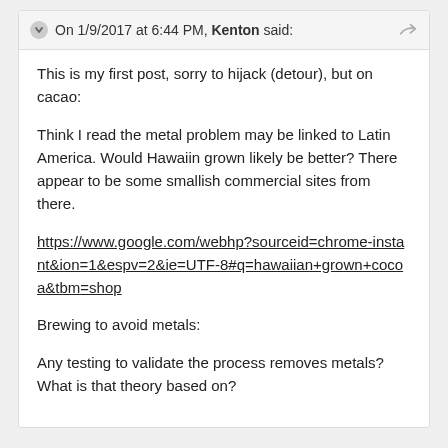On 1/9/2017 at 6:44 PM, Kenton said:
This is my first post, sorry to hijack (detour), but on cacao:
Think I read the metal problem may be linked to Latin America. Would Hawaiin grown likely be better? There appear to be some smallish commercial sites from there.
https://www.google.com/webhp?sourceid=chrome-instant&ion=1&espv=2&ie=UTF-8#q=hawaiian+grown+cocoa&tbm=shop
Brewing to avoid metals:
Any testing to validate the process removes metals? What is that theory based on?